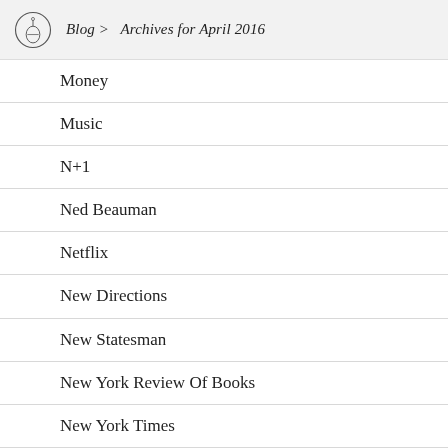Blog > Archives for April 2016
Money
Music
N+1
Ned Beauman
Netflix
New Directions
New Statesman
New York Review Of Books
New York Times
New Yorker
Ngũgĩ Wa Thiong'o